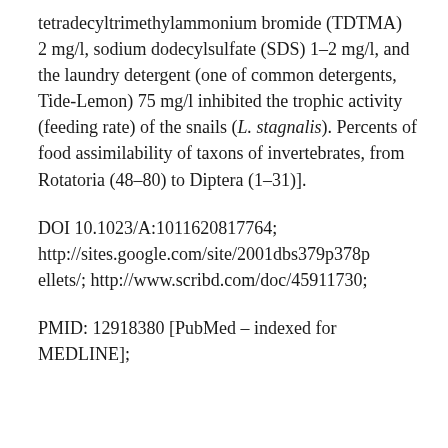tetradecyltrimethylammonium bromide (TDTMA) 2 mg/l, sodium dodecylsulfate (SDS) 1–2 mg/l, and the laundry detergent (one of common detergents, Tide-Lemon) 75 mg/l inhibited the trophic activity (feeding rate) of the snails (L. stagnalis). Percents of food assimilability of taxons of invertebrates, from Rotatoria (48–80) to Diptera (1–31)].
DOI 10.1023/A:1011620817764; http://sites.google.com/site/2001dbs379p378pellets/; http://www.scribd.com/doc/45911730;
PMID: 12918380 [PubMed – indexed for MEDLINE];